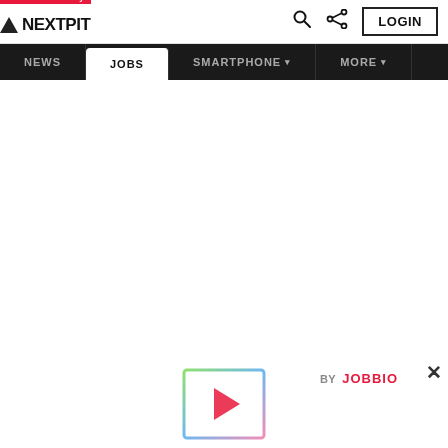Tech & Community
[Figure (logo): NextPit logo with triangle icon and wordmark]
NEWS  JOBS  SMARTPHONE  MORE  LOGIN
BY JOBBIO
[Figure (illustration): Colorful bordered play button icon at bottom center]